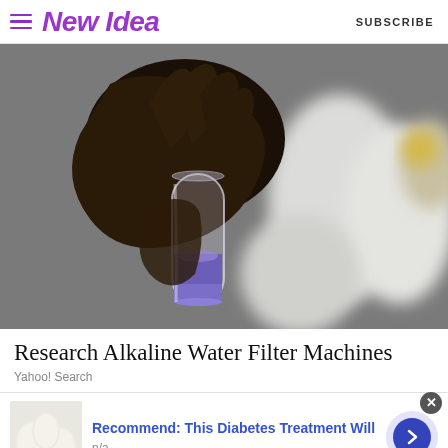New Idea | SUBSCRIBE
[Figure (photo): A hand holding a small glass vial or test tube containing a purple/blue liquid, with white cylindrical containers blurred in the background.]
Research Alkaline Water Filter Machines
Yahoo! Search
[Figure (photo): Advertisement banner: thumbnail image of white eggs on the left, text 'Recommend: This Diabetes Treatment Will' in blue bold font, 'n/a' below, and a blue arrow button on the right with a light purple circular background. A close (x) button appears at top right.]